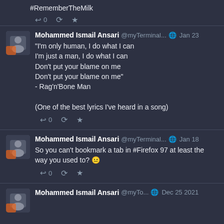#RememberTheMilk
↩ 0 🔁 ★
Mohammed Ismail Ansari @myTerminal... 🌐 Jan 23
"I'm only human, I do what I can
I'm just a man, I do what I can
Don't put your blame on me
Don't put your blame on me"
- Rag'n'Bone Man

(One of the best lyrics I've heard in a song)
↩ 0 🔁 ★
Mohammed Ismail Ansari @myTerminal... 🌐 Jan 18
So you can't bookmark a tab in #Firefox 97 at least the way you used to? 😐
↩ 0 🔁 ★
Mohammed Ismail Ansari @myTo... 🌐 Dec 25 2021